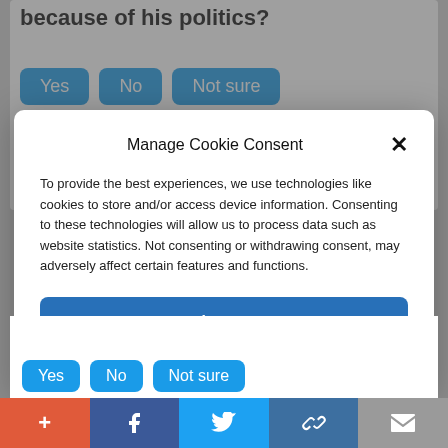because of his politics?
Yes   No   Not sure
774 Votes
Manage Cookie Consent
To provide the best experiences, we use technologies like cookies to store and/or access device information. Consenting to these technologies will allow us to process data such as website statistics. Not consenting or withdrawing consent, may adversely affect certain features and functions.
Accept
Cookie Policy   Privacy Policy
Yes   No   Not sure